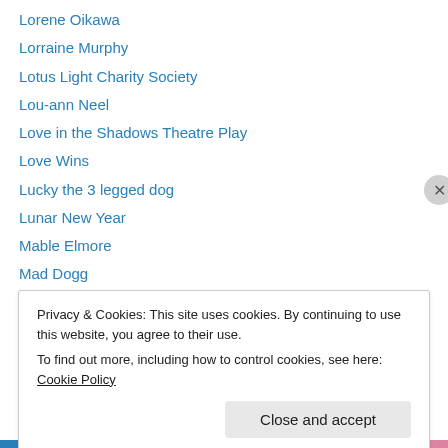Lorene Oikawa
Lorraine Murphy
Lotus Light Charity Society
Lou-ann Neel
Love in the Shadows Theatre Play
Love Wins
Lucky the 3 legged dog
Lunar New Year
Mable Elmore
Mad Dogg
Magic
Magic the Gathering game ( MTG)
Magician
Privacy & Cookies: This site uses cookies. By continuing to use this website, you agree to their use. To find out more, including how to control cookies, see here: Cookie Policy
Close and accept